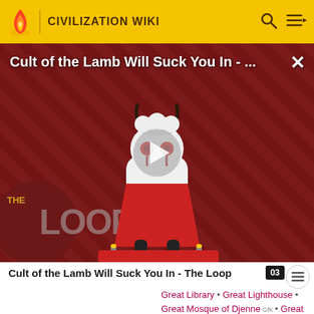CIVILIZATION WIKI
[Figure (screenshot): Video thumbnail for 'Cult of the Lamb Will Suck You In - The Loop' showing a cartoon lamb character on a striped dark red background with a play button overlay and 'THE LOOP' text badge]
Cult of the Lamb Will Suck You In - The Loop
Great Library • Great Lighthouse • Great Mosque of Djenne • Great Wall • Hagia Sophia • Hanging Gardens • Himeji Castle • Hubble Space Telescope...